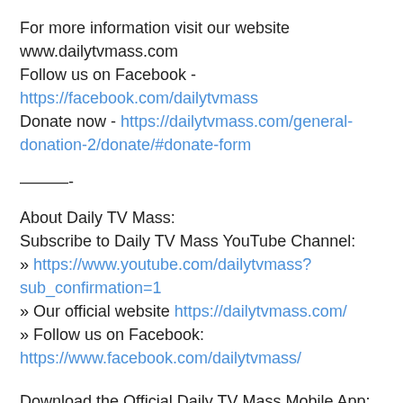For more information visit our website www.dailytvmass.com
Follow us on Facebook - https://facebook.com/dailytvmass
Donate now - https://dailytvmass.com/general-donation-2/donate/#donate-form
———-
About Daily TV Mass:
Subscribe to Daily TV Mass YouTube Channel:
» https://www.youtube.com/dailytvmass?sub_confirmation=1
» Our official website https://dailytvmass.com/
» Follow us on Facebook: https://www.facebook.com/dailytvmass/
Download the Official Daily TV Mass Mobile App: